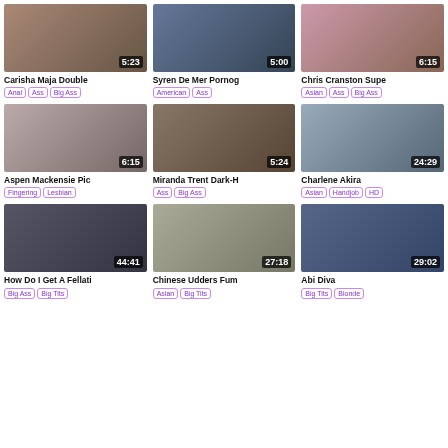[Figure (screenshot): Video thumbnail grid showing adult video listings with titles, durations, and category tags]
Carisha Maja Double | 5:23 | Anal, Ass, Big Ass
Syren De Mer Pornog | 5:00 | American, Ass
Chris Cranston Supe | 6:15 | Asian, Ass, Big Ass
Aspen Mackensie Pic | 6:15 | Fingering, Lesbian
Miranda Trent Dark-H | 5:24 | Ass, Big Ass
Charlene Akira | 24:29 | Asian, Handjob, HD
How Do I Get A Fellati | 44:41 | Big Ass, Big Tits
Chinese Udders Fum | 27:18 | Asian, Big Tits
Abi Diva | 29:02 | Big Tits, Blonde